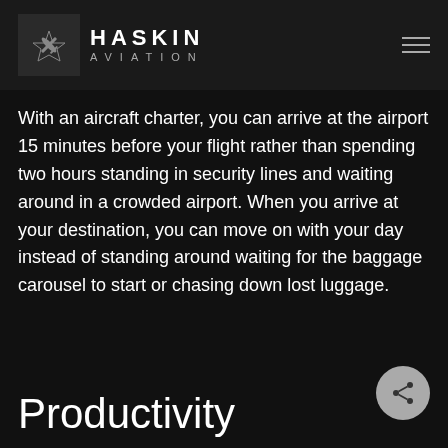HASKIN AVIATION
With an aircraft charter, you can arrive at the airport 15 minutes before your flight rather than spending two hours standing in security lines and waiting around in a crowded airport. When you arrive at your destination, you can move on with your day instead of standing around waiting for the baggage carousel to start or chasing down lost luggage.
Productivity